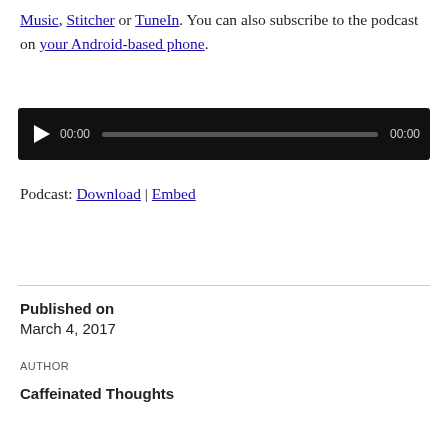Music, Stitcher or TuneIn. You can also subscribe to the podcast on your Android-based phone.
[Figure (other): Audio player widget with black background, play button, time display showing 00:00, progress bar, and end time 00:00]
Podcast: Download | Embed
Published on
March 4, 2017
AUTHOR
Caffeinated Thoughts